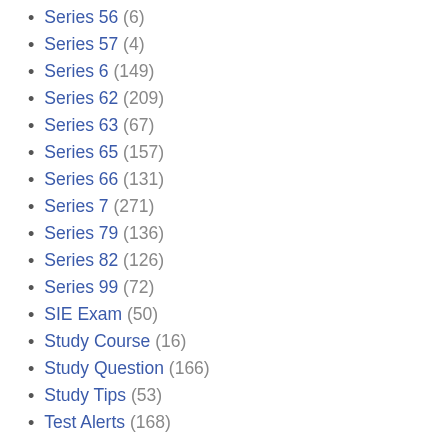Series 56 (6)
Series 57 (4)
Series 6 (149)
Series 62 (209)
Series 63 (67)
Series 65 (157)
Series 66 (131)
Series 7 (271)
Series 79 (136)
Series 82 (126)
Series 99 (72)
SIE Exam (50)
Study Course (16)
Study Question (166)
Study Tips (53)
Test Alerts (168)